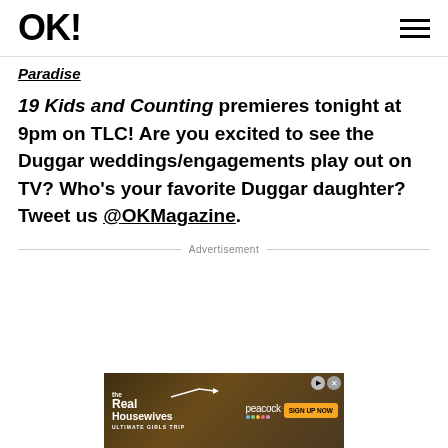OK! (logo) with hamburger menu
Paradise
19 Kids and Counting premieres tonight at 9pm on TLC! Are you excited to see the Duggar weddings/engagements play out on TV? Who's your favorite Duggar daughter? Tweet us @OKMagazine.
Advertisement
[Figure (other): Advertisement banner for The Real Housewives Ultimate Girls Trip on Peacock, with a Sign Up Now button]